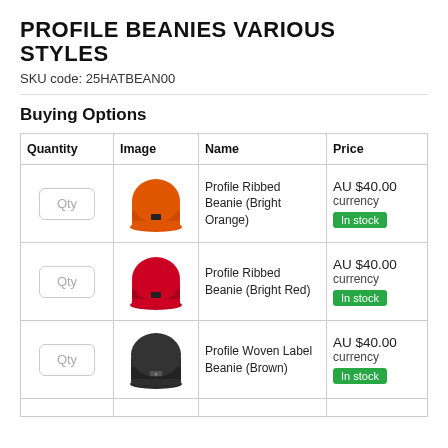PROFILE BEANIES VARIOUS STYLES
SKU code: 25HATBEAN00
Buying Options
| Quantity | Image | Name | Price |
| --- | --- | --- | --- |
| Qty | [orange beanie image] | Profile Ribbed Beanie (Bright Orange) | AU $40.00
currency
In stock |
| Qty | [red beanie image] | Profile Ribbed Beanie (Bright Red) | AU $40.00
currency
In stock |
| Qty | [brown beanie image] | Profile Woven Label Beanie (Brown) | AU $40.00
currency
In stock |
| Qty |  |  |  |